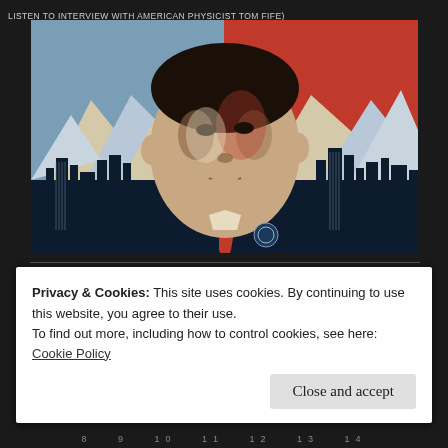LISTEN TO INTERVIEW WITH AMERICAN PHYSICIST TOM FIFE)
[Figure (illustration): Obama 'Hope' style stylized poster illustration with red, white/cream, and dark blue colors. Shows a man's face looking upward with a city skyline and mountains in the background.]
Privacy & Cookies: This site uses cookies. By continuing to use this website, you agree to their use.
To find out more, including how to control cookies, see here: Cookie Policy
Close and accept
8  9  10  11  12  13  14